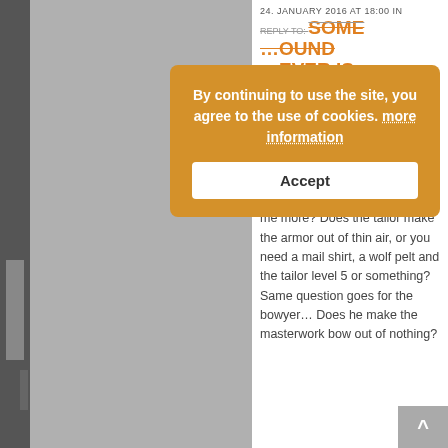24. JANUARY 2016 AT 18:00 IN
REPLY TO: SOME ...OUND ...EVER IS... #12006
Marsh The Muddy
Participant
[Figure (photo): Avatar photo of a man with a mustache in a suit]
Thank you! But could you tell me more? Does the tailor make the armor out of thin air, or you need a mail shirt, a wolf pelt and the tailor level 5 or something?
Same question goes for the bowyer… Does he make the masterwork bow out of nothing?
By continuing to use the site, you agree to the use of cookies. more information
Accept